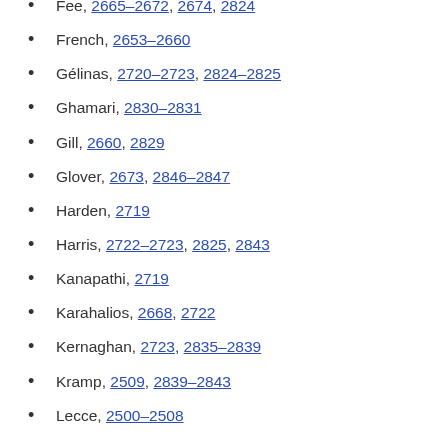Fee, 2665–2672, 2674, 2824
French, 2653–2660
Gélinas, 2720–2723, 2824–2825
Ghamari, 2830–2831
Gill, 2660, 2829
Glover, 2673, 2846–2847
Harden, 2719
Harris, 2722–2723, 2825, 2843
Kanapathi, 2719
Karahalios, 2668, 2722
Kernaghan, 2723, 2835–2839
Kramp, 2509, 2839–2843
Lecce, 2500–2508